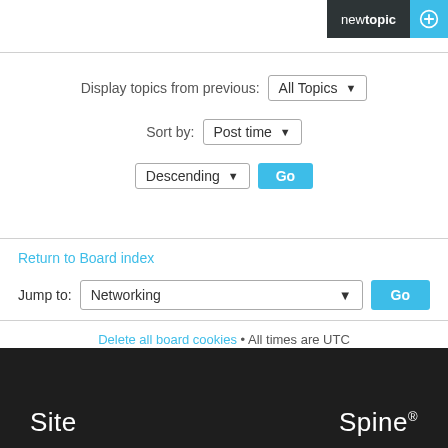new topic
Display topics from previous: All Topics
Sort by: Post time
Descending  Go
Return to Board index
Jump to: Networking  Go
Delete all board cookies • All times are UTC
Site   Spine®